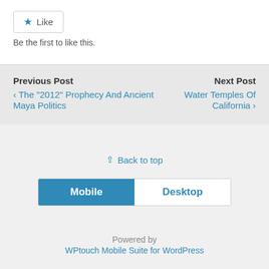[Figure (other): Like button widget with star icon and 'Like' text inside a bordered rounded button]
Be the first to like this.
Previous Post
‹ The "2012" Prophecy And Ancient Maya Politics
Next Post
Water Temples Of California ›
⇑ Back to top
[Figure (other): Mobile/Desktop toggle switch with Mobile selected (blue) and Desktop unselected (white)]
Powered by
WPtouch Mobile Suite for WordPress